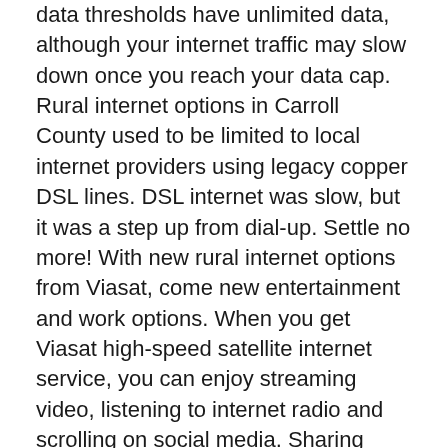data thresholds have unlimited data, although your internet traffic may slow down once you reach your data cap. Rural internet options in Carroll County used to be limited to local internet providers using legacy copper DSL lines. DSL internet was slow, but it was a step up from dial-up. Settle no more! With new rural internet options from Viasat, come new entertainment and work options. When you get Viasat high-speed satellite internet service, you can enjoy streaming video, listening to internet radio and scrolling on social media. Sharing digital files becomes fast and easy, making video conferencing and working from home a new option, too!
Contact us to compare Viasat Internet to HughesNet Internet, Verizon Internet, CenturyLink Internet, AT&T Wireless, Sprint, XFINITY, Comcast Internet, Charter Spectrum Internet, Frontier Internet, Cox Internet, MegaPath, Windstream Internet, Wow Internet, Wave, Cable One Internet, Suddenlink Internet, Mediacom Internet, T-Mobile, DIRECTV Satellite Internet, Dish